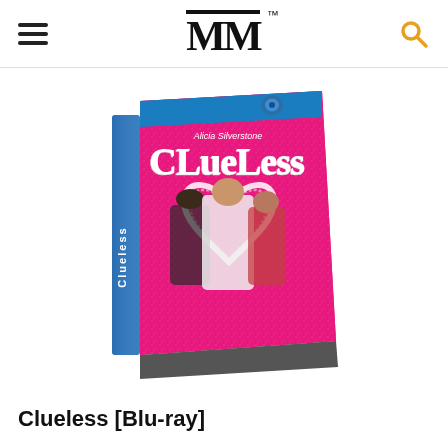MM
[Figure (photo): Blu-ray disc case for the movie 'Clueless' featuring Alicia Silverstone. The case has a pink glittery background with three young women inside a rhinestone heart shape. The top of the case shows the Blu-ray logo. The spine reads 'Clueless'.]
Clueless [Blu-ray]